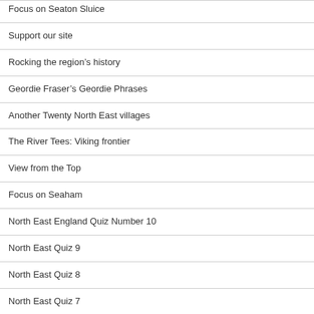Focus on Seaton Sluice
Support our site
Rocking the region's history
Geordie Fraser's Geordie Phrases
Another Twenty North East villages
The River Tees: Viking frontier
View from the Top
Focus on Seaham
North East England Quiz Number 10
North East Quiz 9
North East Quiz 8
North East Quiz 7
North East Quiz 6